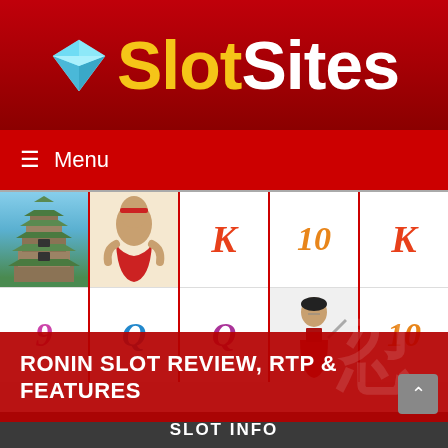[Figure (logo): SlotSites logo with diamond gem icon, yellow Slot and white Sites text on dark red background]
☰  Menu
[Figure (screenshot): Ronin slot game reels showing castle, warrior, K, 10, K symbols in top row and 9, Q, Q, samurai warrior, 10 in bottom row]
RONIN SLOT REVIEW, RTP & FEATURES
SLOT INFO